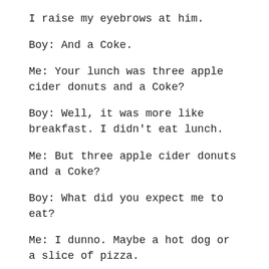I raise my eyebrows at him.
Boy: And a Coke.
Me: Your lunch was three apple cider donuts and a Coke?
Boy: Well, it was more like breakfast. I didn't eat lunch.
Me: But three apple cider donuts and a Coke?
Boy: What did you expect me to eat?
Me: I dunno. Maybe a hot dog or a slice of pizza.
The boy tilts his head slightly with a puzzled